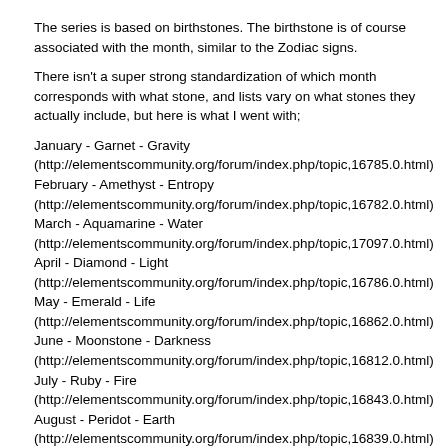The series is based on birthstones. The birthstone is of course associated with the month, similar to the Zodiac signs.
There isn't a super strong standardization of which month corresponds with what stone, and lists vary on what stones they actually include, but here is what I went with;
January - Garnet - Gravity (http://elementscommunity.org/forum/index.php/topic,16785.0.html)
February - Amethyst - Entropy (http://elementscommunity.org/forum/index.php/topic,16782.0.html)
March - Aquamarine - Water (http://elementscommunity.org/forum/index.php/topic,17097.0.html)
April - Diamond - Light (http://elementscommunity.org/forum/index.php/topic,16786.0.html)
May - Emerald - Life (http://elementscommunity.org/forum/index.php/topic,16862.0.html)
June - Moonstone - Darkness (http://elementscommunity.org/forum/index.php/topic,16812.0.html)
July - Ruby - Fire (http://elementscommunity.org/forum/index.php/topic,16843.0.html)
August - Peridot - Earth (http://elementscommunity.org/forum/index.php/topic,16839.0.html)
September - Sapphire - Air (http://elementscommunity.org/forum/index.php/topic,17011.0.html)
October - Opal - Death (http://elementscommunity.org/forum/index.php/topic,16784.0.html)
November - Topaz - Time (http://elementscommunity.org/forum/index.php/topic,16787.0.html)